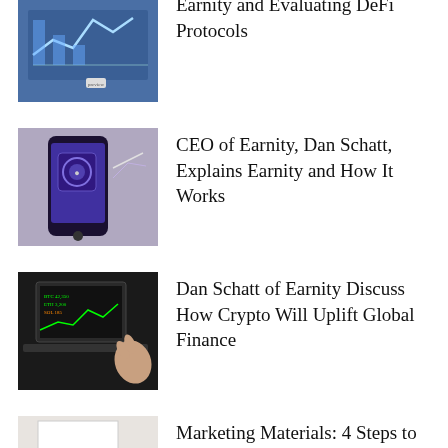[Figure (photo): Financial chart/graph image thumbnail for article about Earnity and DeFi Protocols]
Earnity and Evaluating DeFi Protocols
[Figure (photo): Person holding smartphone with glowing screen]
CEO of Earnity, Dan Schatt, Explains Earnity and How It Works
[Figure (photo): Hands on laptop keyboard with financial data on screen]
Dan Schatt of Earnity Discuss How Crypto Will Uplift Global Finance
[Figure (photo): People in a meeting room around a table]
Marketing Materials: 4 Steps to Success
TOPICS:
Auto